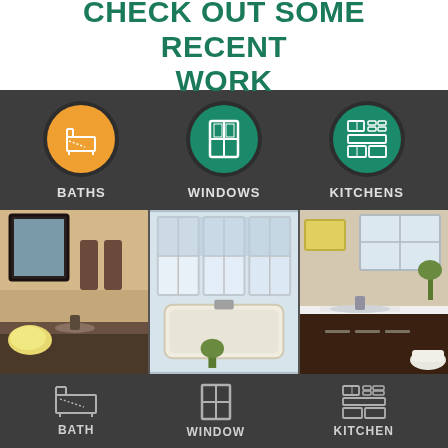CHECK OUT SOME RECENT WORK
[Figure (infographic): Three circular icons on dark background: Bath icon (orange circle), Windows icon (teal circle), Kitchens icon (teal circle), with labels BATHS, WINDOWS, KITCHENS]
[Figure (photo): Three side-by-side photos: bathroom vanity with dark cabinets and mirror, bathtub with large windows, bathroom with white cabinets and toilet]
[Figure (infographic): Three icons on dark background (no circles): Bath icon, Window icon, Kitchen icon, with labels BATH, WINDOW, KITCHEN]